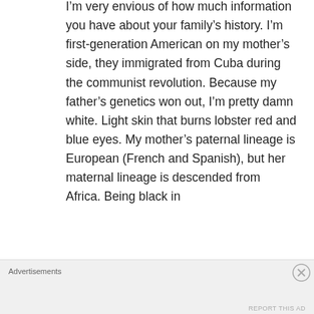I'm very envious of how much information you have about your family's history. I'm first-generation American on my mother's side, they immigrated from Cuba during the communist revolution. Because my father's genetics won out, I'm pretty damn white. Light skin that burns lobster red and blue eyes. My mother's paternal lineage is European (French and Spanish), but her maternal lineage is descended from Africa. Being black in
Advertisements